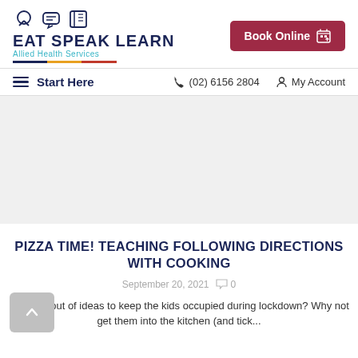[Figure (logo): Eat Speak Learn Allied Health Services logo with icons for speaking, communication, and reading, with a colored underline]
[Figure (other): Book Online button with calendar icon]
≡ Start Here   ☎ (02) 6156 2804   🔴 My Account
[Figure (photo): Large article hero image placeholder (white/gray area)]
PIZZA TIME! TEACHING FOLLOWING DIRECTIONS WITH COOKING
September 20, 2021   💬 0
Running out of ideas to keep the kids occupied during lockdown? Why not get them into the kitchen (and tick...